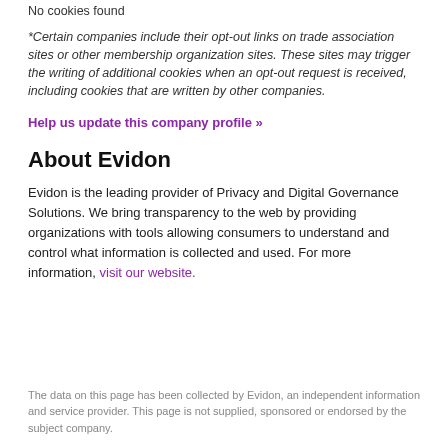No cookies found
*Certain companies include their opt-out links on trade association sites or other membership organization sites. These sites may trigger the writing of additional cookies when an opt-out request is received, including cookies that are written by other companies.
Help us update this company profile »
About Evidon
Evidon is the leading provider of Privacy and Digital Governance Solutions. We bring transparency to the web by providing organizations with tools allowing consumers to understand and control what information is collected and used. For more information, visit our website.
The data on this page has been collected by Evidon, an independent information and service provider. This page is not supplied, sponsored or endorsed by the subject company.